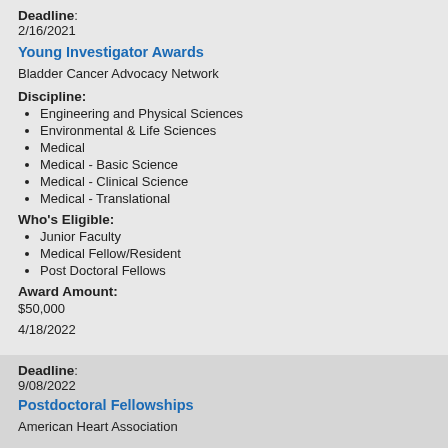Deadline: 2/16/2021
Young Investigator Awards
Bladder Cancer Advocacy Network
Discipline:
Engineering and Physical Sciences
Environmental & Life Sciences
Medical
Medical - Basic Science
Medical - Clinical Science
Medical - Translational
Who's Eligible:
Junior Faculty
Medical Fellow/Resident
Post Doctoral Fellows
Award Amount: $50,000
4/18/2022
Deadline: 9/08/2022
Postdoctoral Fellowships
American Heart Association